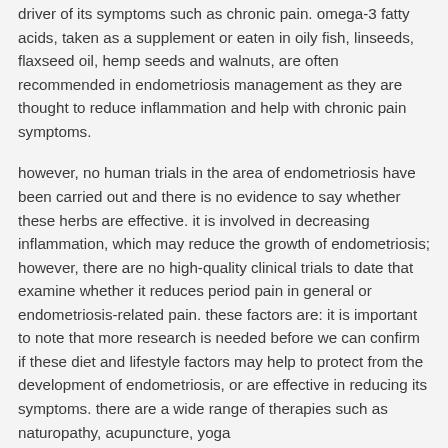driver of its symptoms such as chronic pain. omega-3 fatty acids, taken as a supplement or eaten in oily fish, linseeds, flaxseed oil, hemp seeds and walnuts, are often recommended in endometriosis management as they are thought to reduce inflammation and help with chronic pain symptoms.
however, no human trials in the area of endometriosis have been carried out and there is no evidence to say whether these herbs are effective. it is involved in decreasing inflammation, which may reduce the growth of endometriosis; however, there are no high-quality clinical trials to date that examine whether it reduces period pain in general or endometriosis-related pain. these factors are: it is important to note that more research is needed before we can confirm if these diet and lifestyle factors may help to protect from the development of endometriosis, or are effective in reducing its symptoms. there are a wide range of therapies such as naturopathy, acupuncture, yoga